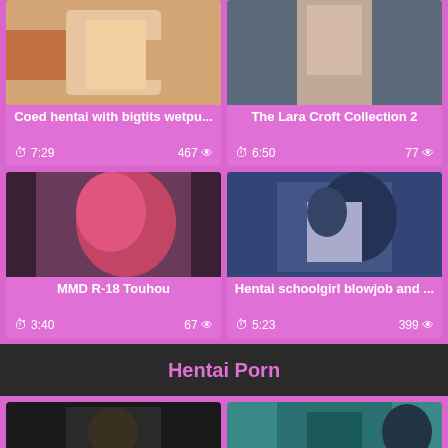[Figure (photo): Anime/hentai thumbnail - coed with bigtits]
Coed hentai with bigtits wetpu...
7:29   467 👁
[Figure (photo): Lara Croft photo thumbnail]
The Lara Croft Collection 2
6:50   77 👁
[Figure (photo): MMD R-18 Touhou anime thumbnail - red haired character]
MMD R-18 Touhou
3:40   67 👁
[Figure (photo): Hentai schoolgirl blowjob anime thumbnail]
Hentai schoolgirl blowjob and ...
5:23   399 👁
Hentai Porn
[Figure (photo): Bottom left thumbnail - dark scene]
[Figure (photo): Bottom right thumbnail - anime figure]